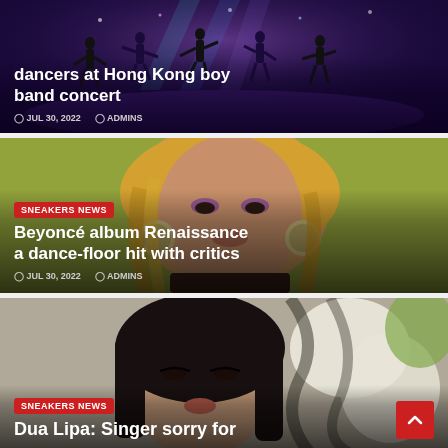[Figure (photo): Dark purple concert scene with dancer silhouettes on stage with lights]
dancers at Hong Kong boy band concert
JUL 30, 2022   ADMINS
[Figure (photo): Close-up portrait of Beyoncé with blonde hair and glamorous makeup on green background]
SNEAKERS NEWS
Beyoncé album Renaissance a dance-floor hit with critics
JUL 30, 2022   ADMINS
[Figure (photo): Portrait of Dua Lipa with dark hair against abstract patterned background]
SNEAKERS NEWS
Dua Lipa: Singer sorry for